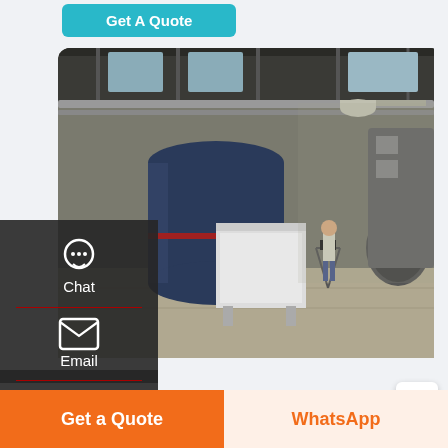Get A Quote
[Figure (photo): Industrial boiler facility interior with large blue cylindrical boiler tanks, pipes, and a person with a tripod camera in a warehouse setting]
Boiler Brand 8t Commercial Dealer
Boiler Brand 8t Commercial Dealer. Commercial Agent Price 8t Coal Boiler Brand Belarus Dealer Industrial 6t Boiler Kyrgyzstan. Industrial 8t Low Price boiler Singapore. 6t h used coal fired boiler
Get a Quote
WhatsApp